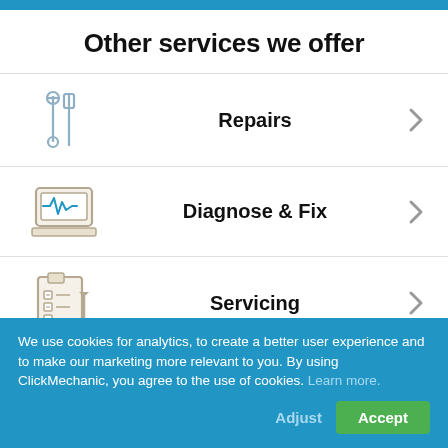Other services we offer
Repairs
Diagnose & Fix
Servicing
We use cookies for analytics, to create a better user experience and to make our marketing more relevant to you. By using ClickMechanic, you agree to the use of cookies. Learn more.